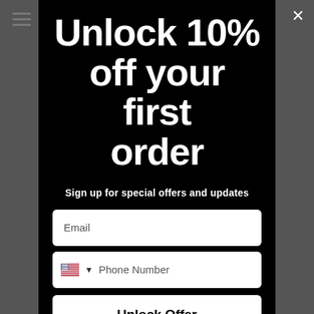Unlock 10% off your first order
Sign up for special offers and updates
Email
Phone Number
Unlock Offer